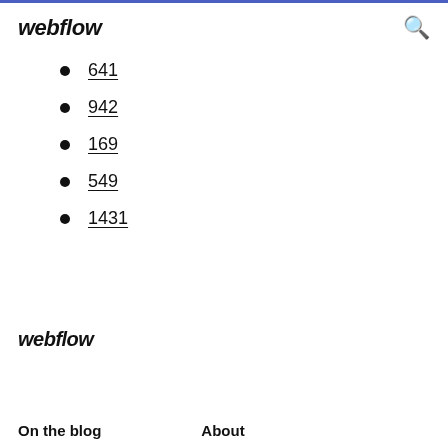webflow
641
942
169
549
1431
webflow
On the blog   About